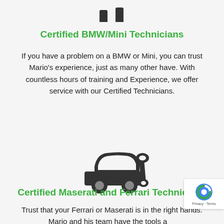[Figure (illustration): Partial icon of car service wrench and car silhouette, cropped at top of page]
Certified BMW/Mini Technicians
If you have a problem on a BMW or Mini, you can trust Mario's experience, just as many other have. With countless hours of training and Experience, we offer service with our Certified Technicians.
[Figure (illustration): Icon of a car with a wrench, representing auto repair service]
Certified Maserati and Ferrari Technicians
Trust that your Ferrari or Maserati is in the right hands. Mario and his team have the tools and know-how to service your baby.